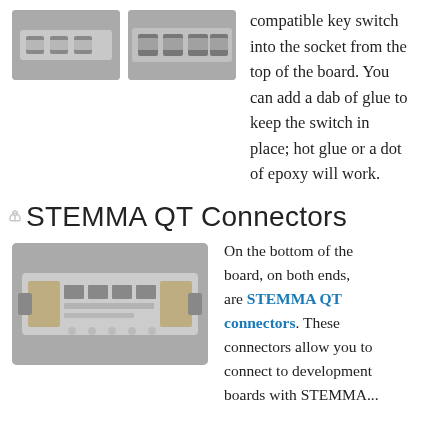[Figure (photo): Two small photos of a mechanical key switch PCB board, showing the switch sockets from above.]
compatible key switch into the socket from the top of the board. You can add a dab of glue to keep the switch in place; hot glue or a dot of epoxy will work.
STEMMA QT Connectors
[Figure (photo): Photo of the bottom of the board showing STEMMA QT connectors on both ends.]
On the bottom of the board, on both ends, are STEMMA QT connectors. These connectors allow you to connect to development boards with STEMMA...